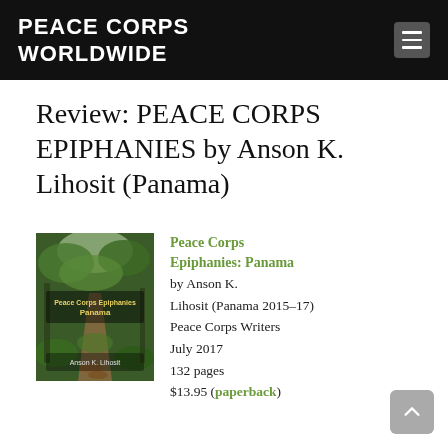PEACE CORPS WORLDWIDE
Review: PEACE CORPS EPIPHANIES by Anson K. Lihosit (Panama)
[Figure (photo): Book cover of Peace Corps Epiphanies: Panama by Anson K. Lihosit, showing a forest path with green foliage]
Peace Corps Epiphanies: Panama
by Anson K. Lihosit (Panama 2015–17)
Peace Corps Writers
July 2017
132 pages
$13.95 (paperback)